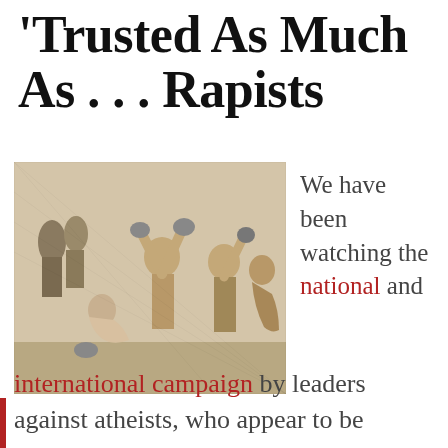Trusted As Much As . . . Rapists
[Figure (illustration): Black and white engraving depicting a biblical or historical stoning scene, with multiple figures raising stones over a kneeling victim.]
We have been watching the national and
international campaign by leaders against atheists, who appear to be